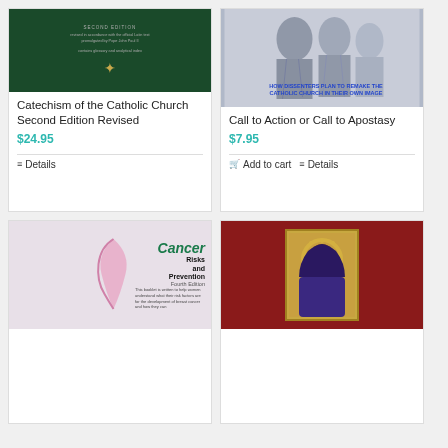[Figure (photo): Book cover: Catechism of the Catholic Church Second Edition, green cover with emblem]
Catechism of the Catholic Church Second Edition Revised
$24.95
Details
[Figure (photo): Book cover: Call to Action or Call to Apostasy, with text 'HOW DISSENTERS PLAN TO REMAKE THE CATHOLIC CHURCH IN THEIR OWN IMAGE']
Call to Action or Call to Apostasy
$7.95
Add to cart
Details
[Figure (photo): Book cover: Cancer Risks and Prevention Fourth Edition, with pink ribbon and text description]
[Figure (photo): Book cover: Madonna icon on red background with gold frame]